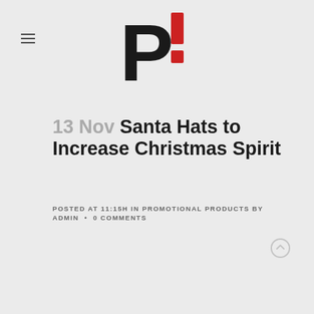[Figure (logo): P! logo — bold black letter P with a red exclamation mark]
13 Nov Santa Hats to Increase Christmas Spirit
POSTED AT 11:15H IN PROMOTIONAL PRODUCTS BY ADMIN • 0 COMMENTS